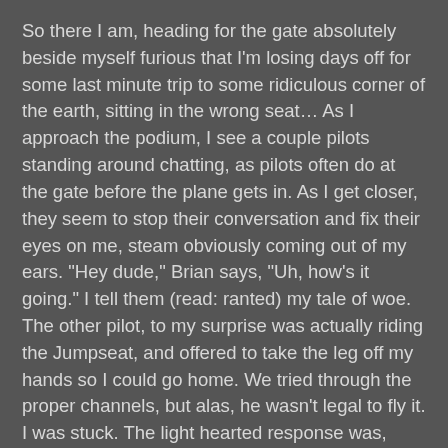So there I am, heading for the gate absolutely beside myself furious that I'm losing days off for some last minute trip to some ridiculous corner of the earth, sitting in the wrong seat... As I approach the podium, I see a couple pilots standing around chatting, as pilots often do at the gate before the plane gets in. As I get closer, they seem to stop their conversation and fix their eyes on me, steam obviously coming out of my ears. "Hey dude," Brian says, "Uh, how's it going." I tell them (read: ranted) my tale of woe. The other pilot, to my surprise was actually riding the Jumpseat, and offered to take the leg off my hands so I could go home. We tried through the proper channels, but alas, he wasn't legal to fly it. I was stuck. The light hearted response was, "Dude, that sucks, but lets just get this over with." Fair enough.
The flight down, with three captains in the cockpit, was